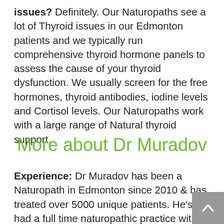Can a Naturopath help with Thyroid issues? Definitely. Our Naturopaths see a lot of Thyroid issues in our Edmonton patients and we typically run comprehensive thyroid hormone panels to assess the cause of your thyroid dysfunction. We usually screen for the free hormones, thyroid antibodies, iodine levels and Cortisol levels. Our Naturopaths work with a large range of Natural thyroid support.
More about Dr Muradov
Experience: Dr Muradov has been a Naturopath in Edmonton since 2010 & has treated over 5000 unique patients. He's had a full time naturopathic practice with